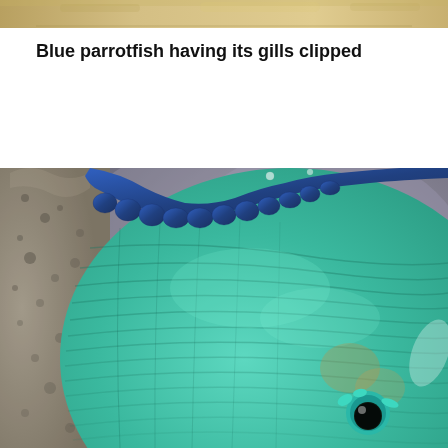[Figure (photo): Top portion of a previous image, showing a warm sandy/yellowish blurred background, partially cropped at the top of the page.]
Blue parrotfish having its gills clipped
[Figure (photo): Close-up photograph of a blue parrotfish being held, showing its vivid teal and blue-green scales, darker blue dorsal gill/fin area with scalloped edges, and the fish's eye with teal protrusions visible in the lower right. The background shows a blurred gray/purple underwater environment and a rocky textured surface on the left.]